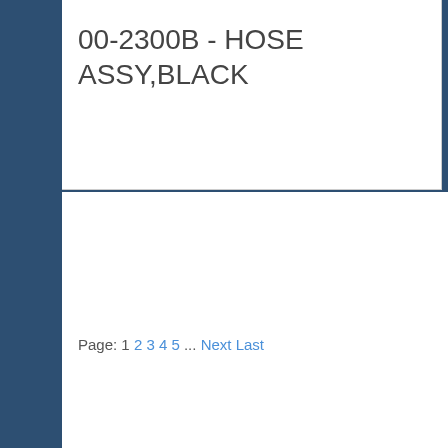00-2300B - HOSE ASSY,BLACK
Zodiac Aerosp
Page: 1 2 3 4 5 ... Next Last
Current Filter: zodiac
[Figure (infographic): Banner advertisement with dark blue background and white bold italic text reading 'Turn Excess Inventory into CASH!']